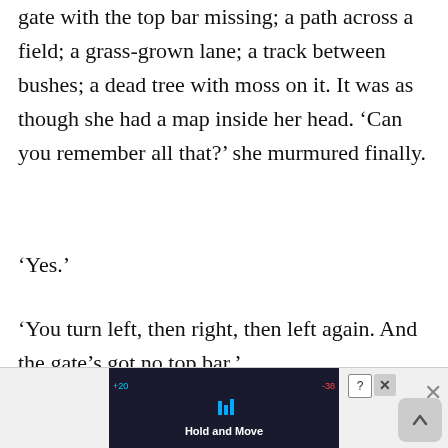gate with the top bar missing; a path across a field; a grass-grown lane; a track between bushes; a dead tree with moss on it. It was as though she had a map inside her head. ‘Can you remember all that?’ she murmured finally.
‘Yes.’
‘You turn left, then right, then left again. And the gate’s got no top bar.’
[Figure (screenshot): Bottom advertisement banner showing a dark background with 'Hold and Move' app/game advertisement, with close and question buttons, an X button to the right, and an up-arrow button in the bottom right corner.]